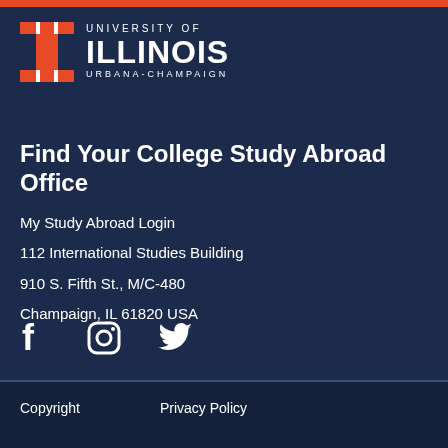[Figure (logo): University of Illinois Urbana-Champaign logo with orange block I and white text]
Find Your College Study Abroad Office
My Study Abroad Login
112 International Studies Building
910 S. Fifth St., M/C-480
Champaign, IL 61820 USA
[Figure (other): Social media icons: Facebook, Instagram, Twitter]
Copyright   Privacy Policy